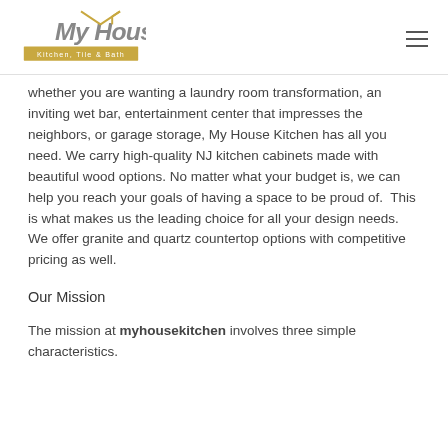My House Kitchen, Tile & Bath
whether you are wanting a laundry room transformation, an inviting wet bar, entertainment center that impresses the neighbors, or garage storage, My House Kitchen has all you need. We carry high-quality NJ kitchen cabinets made with beautiful wood options. No matter what your budget is, we can help you reach your goals of having a space to be proud of.  This is what makes us the leading choice for all your design needs. We offer granite and quartz countertop options with competitive pricing as well.
Our Mission
The mission at myhousekitchen involves three simple characteristics.